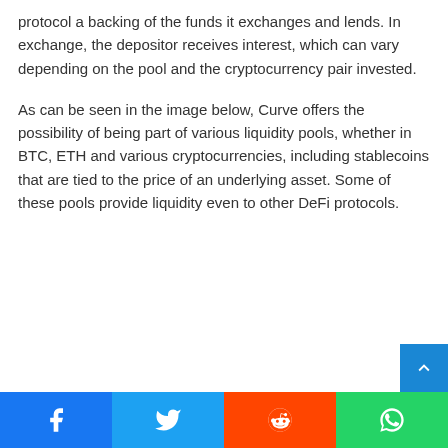protocol a backing of the funds it exchanges and lends. In exchange, the depositor receives interest, which can vary depending on the pool and the cryptocurrency pair invested.
As can be seen in the image below, Curve offers the possibility of being part of various liquidity pools, whether in BTC, ETH and various cryptocurrencies, including stablecoins that are tied to the price of an underlying asset. Some of these pools provide liquidity even to other DeFi protocols.
[Figure (other): Scroll-to-top button (blue square with upward chevron arrow) in bottom-right corner]
[Figure (other): Social sharing bar with four buttons: Facebook (blue), Twitter (light blue), Reddit (orange-red), WhatsApp (green)]